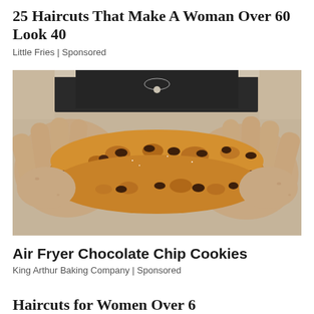25 Haircuts That Make A Woman Over 60 Look 40
Little Fries | Sponsored
[Figure (photo): Hands holding a split chocolate chip cookie showing gooey chocolate interior]
Air Fryer Chocolate Chip Cookies
King Arthur Baking Company | Sponsored
Haircuts for Women Over 6